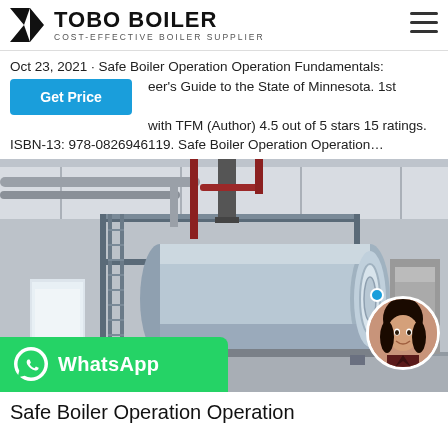TOBO BOILER — COST-EFFECTIVE BOILER SUPPLIER
Oct 23, 2021 · Safe Boiler Operation Operation Fundamentals: ...eer's Guide to the State of Minnesota. 1st Edition. by with TFM (Author) 4.5 out of 5 stars 15 ratings. ISBN-13: 978-0826946119. Safe Boiler Operation Operation…
[Figure (photo): Industrial boiler facility interior showing a large horizontal cylindrical blue/grey boiler mounted on a steel frame platform, with red and grey pipes overhead, in a warehouse-like building. A WhatsApp chat button overlay is in the bottom-left corner and a circular avatar photo is in the bottom-right.]
Safe Boiler Operation Operation